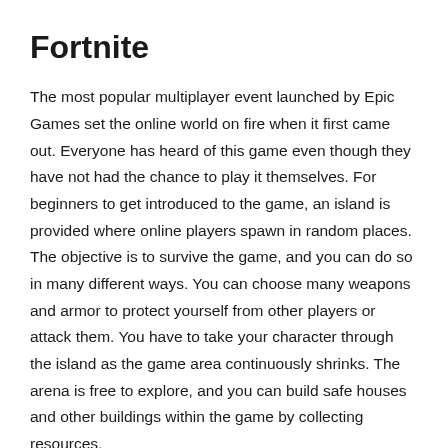Fortnite
The most popular multiplayer event launched by Epic Games set the online world on fire when it first came out. Everyone has heard of this game even though they have not had the chance to play it themselves. For beginners to get introduced to the game, an island is provided where online players spawn in random places. The objective is to survive the game, and you can do so in many different ways. You can choose many weapons and armor to protect yourself from other players or attack them. You have to take your character through the island as the game area continuously shrinks. The arena is free to explore, and you can build safe houses and other buildings within the game by collecting resources.
Fortnite became a gaming hub during the lockdown, where players gathered in huge numbers to witness live events that even included crossovers from other games. Prominent global artists also hold